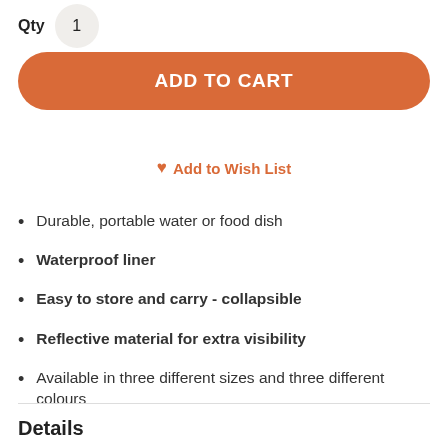Qty 1
ADD TO CART
♥ Add to Wish List
Durable, portable water or food dish
Waterproof liner
Easy to store and carry - collapsible
Reflective material for extra visibility
Available in three different sizes and three different colours
Details